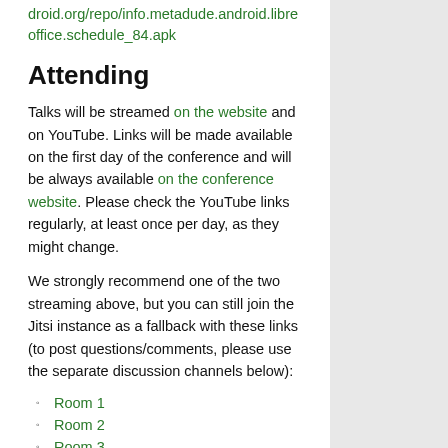droid.org/repo/info.metadude.android.libreoffice.schedule_84.apk
Attending
Talks will be streamed on the website and on YouTube. Links will be made available on the first day of the conference and will be always available on the conference website. Please check the YouTube links regularly, at least once per day, as they might change.
We strongly recommend one of the two streaming above, but you can still join the Jitsi instance as a fallback with these links (to post questions/comments, please use the separate discussion channels below):
Room 1
Room 2
Room 3